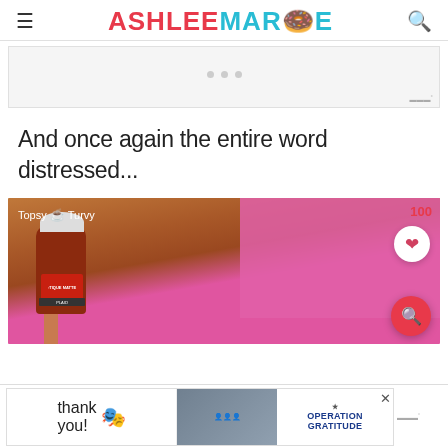≡  ASHLEE MARIE  🔍
[Figure (other): Advertisement banner placeholder with three dots indicating loading ad content, mediavine badge in bottom right]
And once again the entire word distressed...
[Figure (photo): Photo of a hand holding a bottle of Plaid FolkArt Tique Matte paint against a pink background. Topsy Turvy watermark in top left. Heart button and search button overlaid on right side. '100' count badge top right.]
[Figure (photo): Advertisement banner at bottom showing 'Thank you!' with American flag imagery on left, people in masks holding cards in center, and Operation Gratitude logo on right. Close button in top right.]